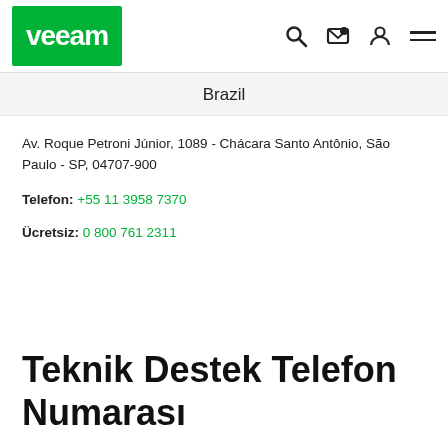VEEAM
Brazil
Av. Roque Petroni Júnior, 1089 - Chácara Santo Antônio, São Paulo - SP, 04707-900
Telefon: +55 11 3958 7370
Ücretsiz: 0 800 761 2311
Teknik Destek Telefon Numarası